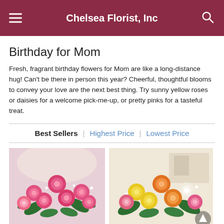Chelsea Florist, Inc
Birthday for Mom
Fresh, fragrant birthday flowers for Mom are like a long-distance hug! Can't be there in person this year? Cheerful, thoughtful blooms to convey your love are the next best thing. Try sunny yellow roses or daisies for a welcome pick-me-up, or pretty pinks for a tasteful treat.
Best Sellers | Highest Price | Lowest Price
[Figure (photo): Bouquet of pink roses with white baby's breath]
[Figure (photo): Bouquet of multicolor roses with yellow, orange, white, and pink flowers]